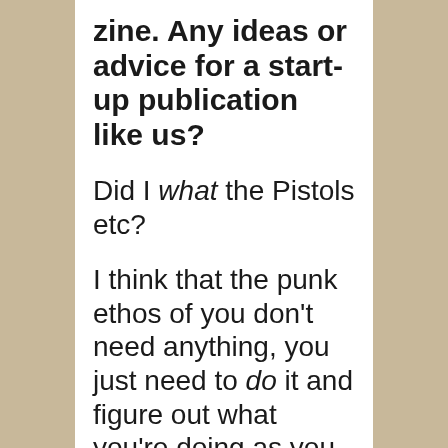zine. Any ideas or advice for a start-up publication like us?
Did I what the Pistols etc?
I think that the punk ethos of you don't need anything, you just need to do it and figure out what you're doing as you go, has